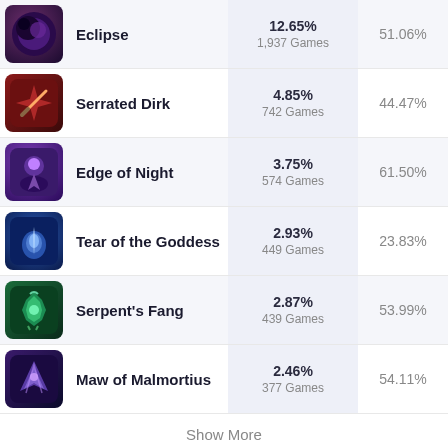| Item | Pick Rate | Win Rate |
| --- | --- | --- |
| Eclipse | 12.65% / 1,937 Games | 51.06% |
| Serrated Dirk | 4.85% / 742 Games | 44.47% |
| Edge of Night | 3.75% / 574 Games | 61.50% |
| Tear of the Goddess | 2.93% / 449 Games | 23.83% |
| Serpent's Fang | 2.87% / 439 Games | 53.99% |
| Maw of Malmortius | 2.46% / 377 Games | 54.11% |
Show More
[Figure (other): Advertisement placeholder box]